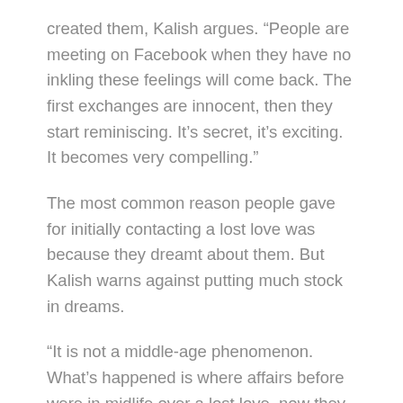created them, Kalish argues. “People are meeting on Facebook when they have no inkling these feelings will come back. The first exchanges are innocent, then they start reminiscing. It’s secret, it’s exciting. It becomes very compelling.”
The most common reason people gave for initially contacting a lost love was because they dreamt about them. But Kalish warns against putting much stock in dreams.
“It is not a middle-age phenomenon. What’s happened is where affairs before were in midlife over a lost love, now they are happening in the 30s when you have young children in the home,” she says.
Rekindled romances “are no average affairs”, she adds.